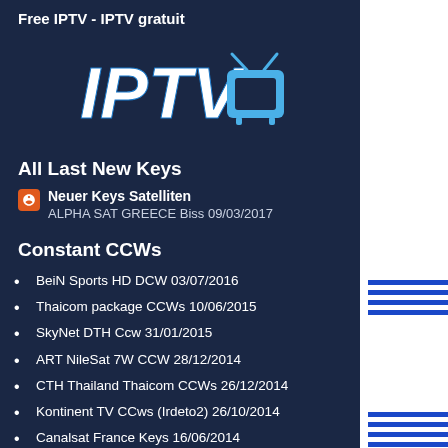Free IPTV - IPTV gratuit
[Figure (logo): IPTV logo with stylized blue italic text 'IPTV' and a blue cartoon television icon]
All Last New Keys
Neuer Keys Satelliten
ALPHA SAT GREECE Biss 09/03/2017
Constant CCWs
BeiN Sports HD DCW 03/07/2016
Thaicom package CCWs 10/06/2015
SkyNet DTH Ccw 31/01/2015
ART NileSat 7W CCW 28/12/2014
CTH Thailand Thaicom CCWs 26/12/2014
Kontinent TV CCws (Irdeto2) 26/10/2014
Canalsat France Keys 16/06/2014
Sky Italia CCws 15/05/2014
Hayat Folk TV/PLUS/TV BIH CW 26/02/2014
NTV Spor 26/01/2014
TRING TV DCW 26/10/2013